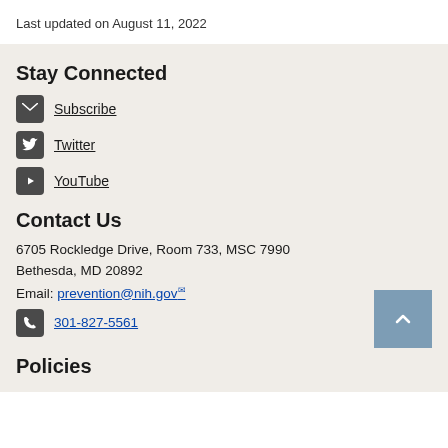Last updated on August 11, 2022
Stay Connected
Subscribe
Twitter
YouTube
Contact Us
6705 Rockledge Drive, Room 733, MSC 7990
Bethesda, MD 20892
Email: prevention@nih.gov
301-827-5561
Policies